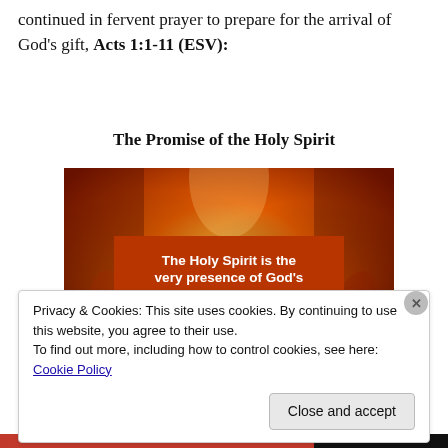continued in fervent prayer to prepare for the arrival of God's gift, Acts 1:1-11 (ESV):
The Promise of the Holy Spirit
[Figure (illustration): Image with fiery orange/red background and an orange rectangle containing white bold text: 'The Holy Spirit is the very presence of God's power actively working in us -His servants -TODAY!']
Privacy & Cookies: This site uses cookies. By continuing to use this website, you agree to their use.
To find out more, including how to control cookies, see here: Cookie Policy
Close and accept